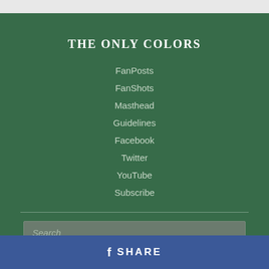THE ONLY COLORS
FanPosts
FanShots
Masthead
Guidelines
Facebook
Twitter
YouTube
Subscribe
Search
f SHARE